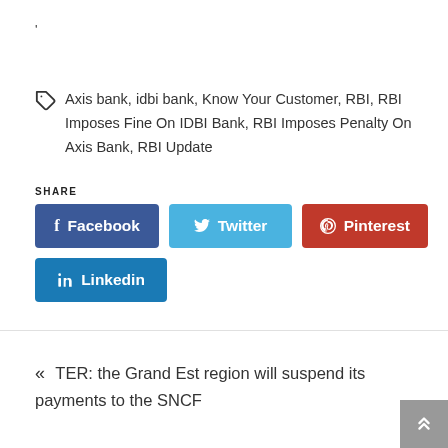'
Axis bank, idbi bank, Know Your Customer, RBI, RBI Imposes Fine On IDBI Bank, RBI Imposes Penalty On Axis Bank, RBI Update
SHARE
[Figure (other): Social share buttons: Facebook, Twitter, Pinterest, Linkedin]
« TER: the Grand Est region will suspend its payments to the SNCF